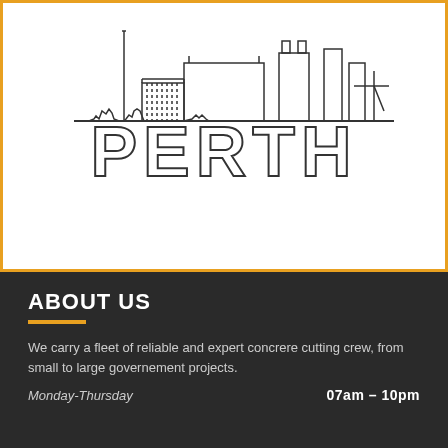[Figure (illustration): Perth city skyline outline drawing with 'PERTH' text below in outline/hollow letters, white background with orange border]
ABOUT US
We carry a fleet of reliable and expert concrere cutting crew, from small to large governement projects.
Monday-Thursday   07am – 10pm